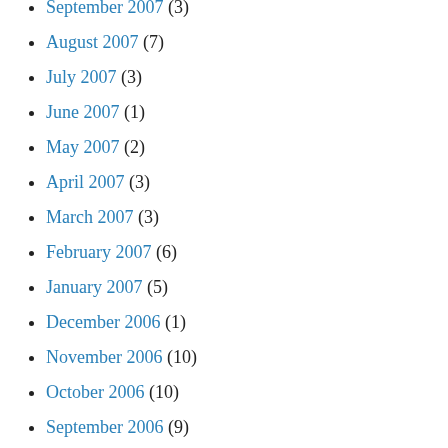September 2007 (3)
August 2007 (7)
July 2007 (3)
June 2007 (1)
May 2007 (2)
April 2007 (3)
March 2007 (3)
February 2007 (6)
January 2007 (5)
December 2006 (1)
November 2006 (10)
October 2006 (10)
September 2006 (9)
August 2006 (6)
July 2006 (16)
June 2006 (5)
May 2006 (4)